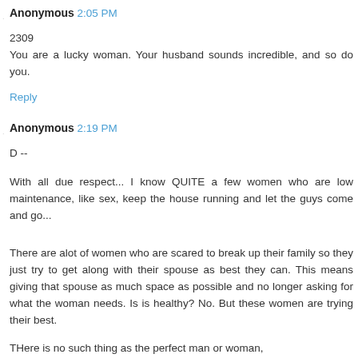Anonymous 2:05 PM
2309
You are a lucky woman. Your husband sounds incredible, and so do you.
Reply
Anonymous 2:19 PM
D --
With all due respect... I know QUITE a few women who are low maintenance, like sex, keep the house running and let the guys come and go...
There are alot of women who are scared to break up their family so they just try to get along with their spouse as best they can. This means giving that spouse as much space as possible and no longer asking for what the woman needs. Is is healthy? No. But these women are trying their best.
THere is no such thing as the perfect man or woman,